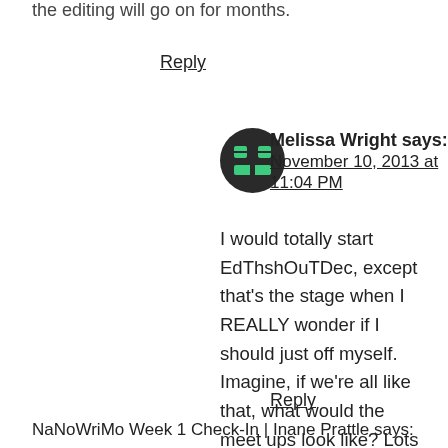the editing will go on for months.
Reply
Melissa Wright says:
November 10, 2013 at 11:04 PM
[Figure (illustration): Avatar icon of Melissa Wright — dark circular avatar with green grid/plug emoji face]
I would totally start EdThshOuTDec, except that's the stage when I REALLY wonder if I should just off myself. Imagine, if we're all like that, what would the meet ups look like? Lots of gin, for one…
Reply
NaNoWriMo Week 1 Check-In | Inane Prattle says: